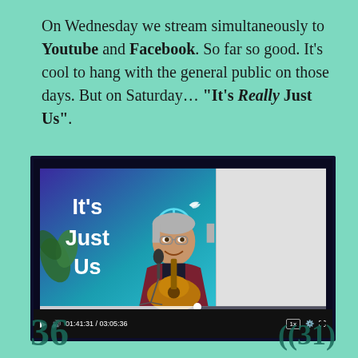On Wednesday we stream simultaneously to Youtube and Facebook. So far so good. It's cool to hang with the general public on those days. But on Saturday... "It's Really Just Us".
[Figure (screenshot): Embedded video player showing a man with gray hair playing guitar, sitting in front of a blue/purple banner that reads 'It's Just Us' with a peace symbol. Video controls show timestamp 01:41:31 / 03:05:36 with a progress bar.]